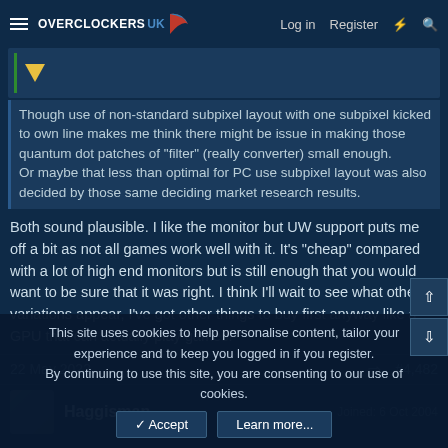Overclockers UK — Log in | Register
[Figure (screenshot): Forum post preview area with a yellow triangle indicator on a dark blue background]
Though use of non-standard subpixel layout with one subpixel kicked to own line makes me think there might be issue in making those quantum dot patches of "filter" (really converter) small enough.
Or maybe that less than optimal for PC use subpixel layout was also decided by those same deciding market research results.
Both sound plausible. I like the monitor but UW support puts me off a bit as not all games work well with it. It's "cheap" compared with a lot of high end monitors but is still enough that you would want to be sure that it was right. I think I'll wait to see what other variations appear, I've got other things to buy first anyway like a GPU that can actually play games!
22 May 2022   #4,482
Haggisman   Joined: 6 Oct 2004
This site uses cookies to help personalise content, tailor your experience and to keep you logged in if you register.
By continuing to use this site, you are consenting to our use of cookies.